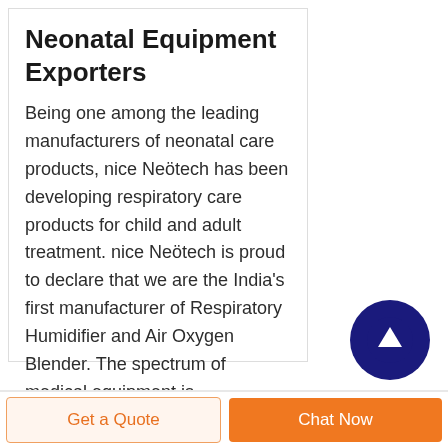Neonatal Equipment Exporters
Being one among the leading manufacturers of neonatal care products, nice Neötech has been developing respiratory care products for child and adult treatment. nice Neötech is proud to declare that we are the India's first manufacturer of Respiratory Humidifier and Air Oxygen Blender. The spectrum of medical equipment is continuously